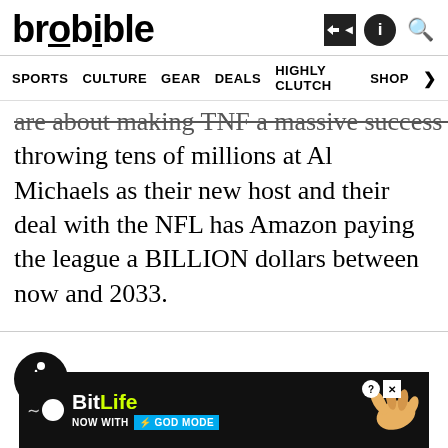brobible
SPORTS  CULTURE  GEAR  DEALS  HIGHLY CLUTCH  SHOP
are about making TNF a massive success by throwing tens of millions at Al Michaels as their new host and their deal with the NFL has Amazon paying the league a BILLION dollars between now and 2033.
[Figure (illustration): Accessibility icon — wheelchair user symbol in a black circle]
[Figure (infographic): BitLife advertisement banner: 'BitLife NOW WITH GOD MODE' with lightning bolt graphic and pointing hand illustration]